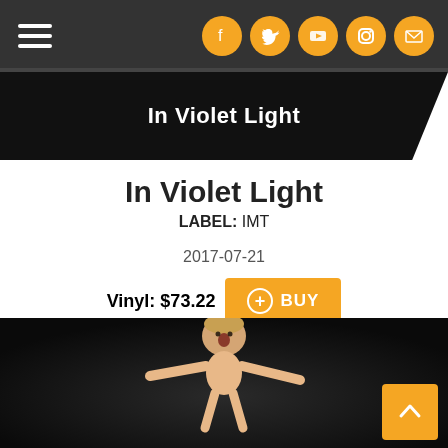Navigation bar with hamburger menu and social icons (Facebook, Twitter, YouTube, Instagram, Email)
[Figure (photo): Black banner with text 'In Violet Light' in white bold font on dark background]
In Violet Light
LABEL: IMT
2017-07-21
Vinyl: $73.22  BUY
[Figure (photo): A toddler with blonde hair floating or jumping against a dark background with arms outstretched and mouth open]